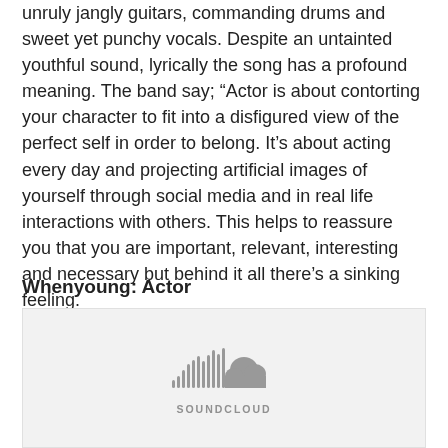unruly jangly guitars, commanding drums and sweet yet punchy vocals. Despite an untainted youthful sound, lyrically the song has a profound meaning. The band say; “Actor is about contorting your character to fit into a disfigured view of the perfect self in order to belong. It’s about acting every day and projecting artificial images of yourself through social media and in real life interactions with others. This helps to reassure you that you are important, relevant, interesting and necessary but behind it all there’s a sinking feeling.
Whenyoung: Actor
[Figure (other): SoundCloud embedded player widget showing the SoundCloud logo (waveform bars and cloud icon) and the SOUNDCLOUD text label on a light grey background.]